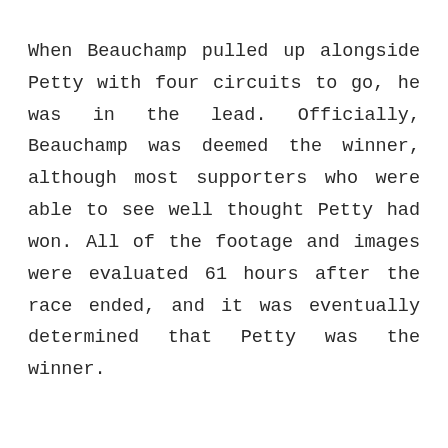When Beauchamp pulled up alongside Petty with four circuits to go, he was in the lead. Officially, Beauchamp was deemed the winner, although most supporters who were able to see well thought Petty had won. All of the footage and images were evaluated 61 hours after the race ended, and it was eventually determined that Petty was the winner.